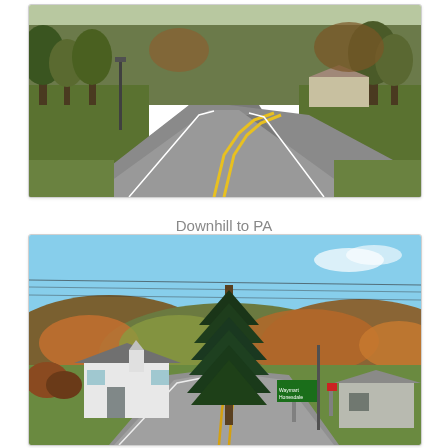[Figure (photo): A winding two-lane rural road curving to the right, lined with trees showing autumn foliage. A yellow center line is visible on the gray asphalt. Buildings and green lawn visible in the background.]
Downhill to PA
[Figure (photo): A rural Pennsylvania intersection with a tall pine/spruce tree in the center foreground, white cape-cod style house on the left, small commercial building on the right, green highway directional sign visible in the middle distance, rolling hills with autumn foliage in the background under a blue sky.]